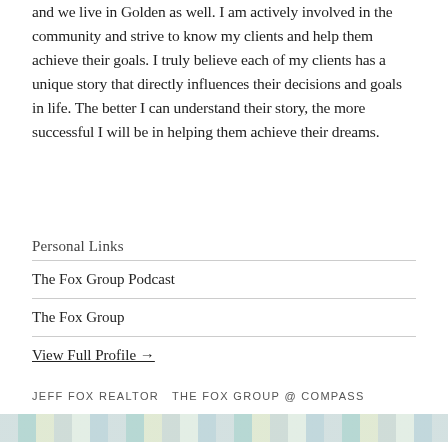and we live in Golden as well. I am actively involved in the community and strive to know my clients and help them achieve their goals. I truly believe each of my clients has a unique story that directly influences their decisions and goals in life. The better I can understand their story, the more successful I will be in helping them achieve their dreams.
Personal Links
The Fox Group Podcast
The Fox Group
View Full Profile →
JEFF FOX REALTOR THE FOX GROUP @ COMPASS